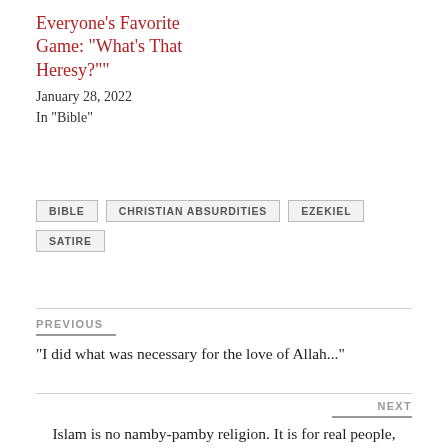Everyone's Favorite Game: “What’s That Heresy?””
January 28, 2022
In “Bible”
BIBLE
CHRISTIAN ABSURDITIES
EZEKIEL
SATIRE
PREVIOUS
“I did what was necessary for the love of Allah...”
NEXT
Islam is no namby-pamby religion. It is for real people, whatever might befall them in this world